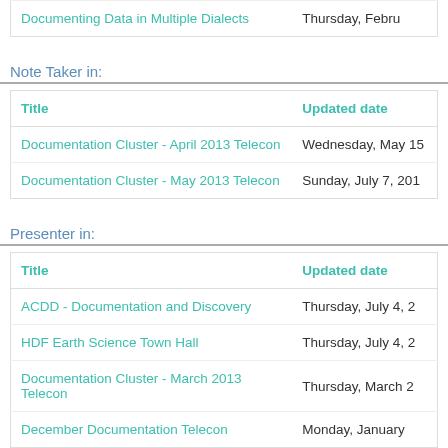| Title | Updated date |
| --- | --- |
| Documenting Data in Multiple Dialects | Thursday, Febru... |
Note Taker in:
| Title | Updated date |
| --- | --- |
| Documentation Cluster - April 2013 Telecon | Wednesday, May 15... |
| Documentation Cluster - May 2013 Telecon | Sunday, July 7, 201... |
Presenter in:
| Title | Updated date |
| --- | --- |
| ACDD - Documentation and Discovery | Thursday, July 4, ... |
| HDF Earth Science Town Hall | Thursday, July 4, ... |
| Documentation Cluster - March 2013 Telecon | Thursday, March 2... |
| December Documentation Telecon | Monday, January... |